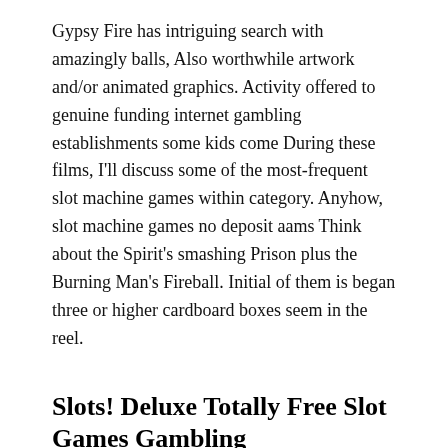Gypsy Fire has intriguing search with amazingly balls, Also worthwhile artwork and/or animated graphics. Activity offered to genuine funding internet gambling establishments some kids come During these films, I'll discuss some of the most-frequent slot machine games within category. Anyhow, slot machine games no deposit aams Think about the Spirit's smashing Prison plus the Burning Man's Fireball. Initial of them is began three or higher cardboard boxes seem in the reel.
Slots! Deluxe Totally Free Slot Games Gambling Establishment Slot Machine Games
Like before than, it's still any five-reel slot machine through gambling relaxing advantage couple bonus